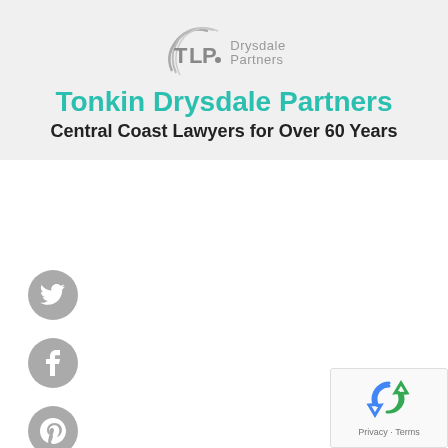[Figure (logo): TDP Tonkin Drysdale Partners logo with teal circular arc motif and TDP letters]
Tonkin Drysdale Partners
Central Coast Lawyers for Over 60 Years
[Figure (illustration): Twitter social media icon circle (grey)]
[Figure (illustration): Facebook social media icon circle (grey)]
[Figure (illustration): Pinterest social media icon circle (grey)]
[Figure (illustration): LinkedIn social media icon circle (grey)]
[Figure (illustration): reCAPTCHA widget with Privacy and Terms links]